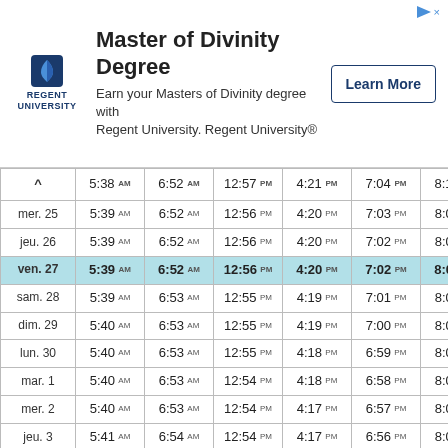[Figure (infographic): Advertisement banner for Regent University Master of Divinity Degree with logo, text, and Learn More button]
| ^ | 5:38 AM | 6:52 AM | 12:57 PM | 4:21 PM | 7:04 PM | 8:10 PM |
| --- | --- | --- | --- | --- | --- | --- |
| mer. 25 | 5:39 AM | 6:52 AM | 12:56 PM | 4:20 PM | 7:03 PM | 8:09 PM |
| jeu. 26 | 5:39 AM | 6:52 AM | 12:56 PM | 4:20 PM | 7:02 PM | 8:08 PM |
| ven. 27 | 5:39 AM | 6:52 AM | 12:56 PM | 4:20 PM | 7:02 PM | 8:07 PM |
| sam. 28 | 5:39 AM | 6:53 AM | 12:55 PM | 4:19 PM | 7:01 PM | 8:07 PM |
| dim. 29 | 5:40 AM | 6:53 AM | 12:55 PM | 4:19 PM | 7:00 PM | 8:06 PM |
| lun. 30 | 5:40 AM | 6:53 AM | 12:55 PM | 4:18 PM | 6:59 PM | 8:05 PM |
| mar. 1 | 5:40 AM | 6:53 AM | 12:54 PM | 4:18 PM | 6:58 PM | 8:04 PM |
| mer. 2 | 5:40 AM | 6:53 AM | 12:54 PM | 4:17 PM | 6:57 PM | 8:03 PM |
| jeu. 3 | 5:41 AM | 6:54 AM | 12:54 PM | 4:17 PM | 6:56 PM | 8:02 PM |